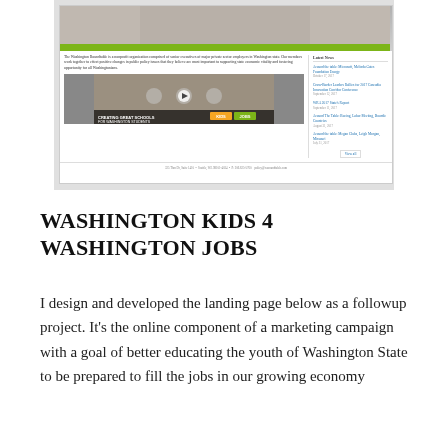[Figure (screenshot): Screenshot of a website for Washington Kids 4 Washington Jobs, showing a header image with a green stripe, body text about The Washington Roundtable, a video thumbnail with children and a Kids/Jobs banner, and a sidebar with Latest News items.]
WASHINGTON KIDS 4 WASHINGTON JOBS
I design and developed the landing page below as a followup project. It's the online component of a marketing campaign with a goal of better educating the youth of Washington State to be prepared to fill the jobs in our growing economy